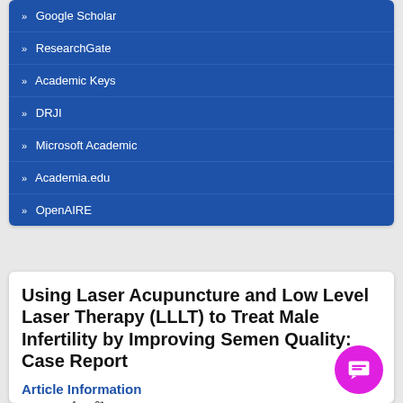» Google Scholar
» ResearchGate
» Academic Keys
» DRJI
» Microsoft Academic
» Academia.edu
» OpenAIRE
Using Laser Acupuncture and Low Level Laser Therapy (LLLT) to Treat Male Infertility by Improving Semen Quality: Case Report
Article Information
Author(s): ...